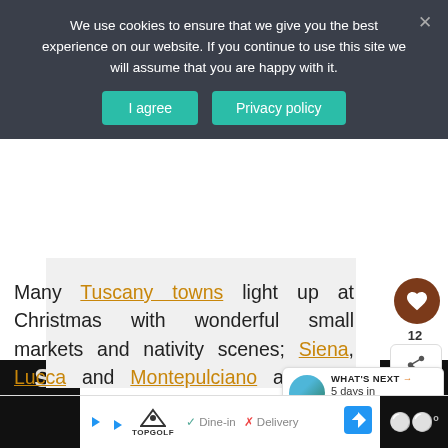We use cookies to ensure that we give you the best experience on our website. If you continue to use this site we will assume that you are happy with it.
[Figure (screenshot): Cookie consent banner with 'I agree' and 'Privacy policy' teal buttons on a dark background]
[Figure (photo): Light gray image placeholder area (photo of Tuscany)]
Many Tuscany towns light up at Christmas with wonderful small markets and nativity scenes; Siena, Lucca and Montepulciano are best known.
[Figure (screenshot): WHAT'S NEXT widget showing '5 days in Sicily...' with a circular thumbnail photo]
[Figure (screenshot): Bottom advertisement bar with TopGolf logo, Dine-in and Delivery options]